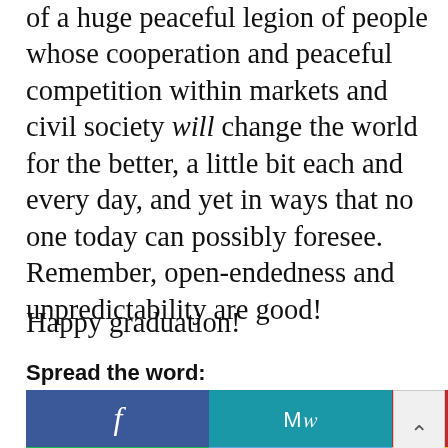of a huge peaceful legion of people whose cooperation and peaceful competition within markets and civil society will change the world for the better, a little bit each and every day, and yet in ways that no one today can possibly foresee. Remember, open-endedness and unpredictability are good!
Happy graduation!
Spread the word:
[Figure (infographic): Social sharing buttons grid: Facebook (dark blue, f icon), MeWe (teal, MW text), Parler (red, P icon), Goodreads (green, g icon), Twitter (light blue, bird icon), Share (yellow/gold, chain link icon). A scroll-up arrow button overlaps the right side.]